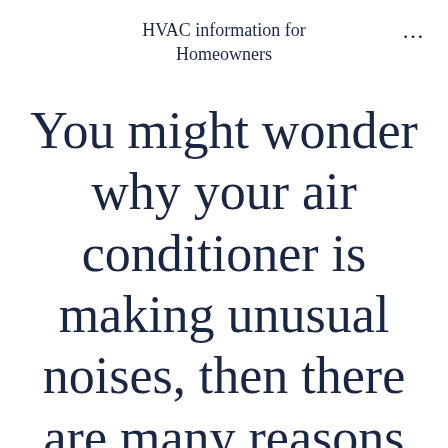HVAC information for Homeowners
You might wonder why your air conditioner is making unusual noises, then there are many reasons for